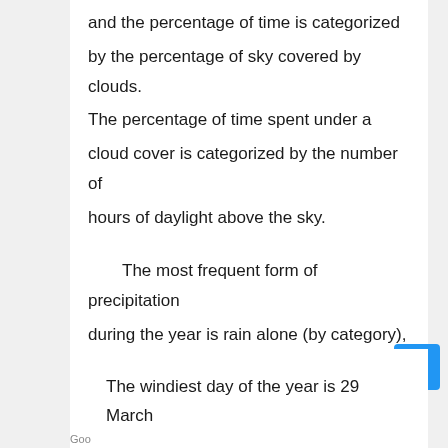and the percentage of time is categorized by the percentage of sky covered by clouds. The percentage of time spent under a cloud cover is categorized by the number of hours of daylight above the sky.
The most frequent form of precipitation during the year is rain alone (by category), and the majority of the rain falls in the 31 days around May 9. The wind is the windiest part of the year, lasting 2-7 months, and the driest part from April 1 to May 1.
The windiest day of the year is 29 March